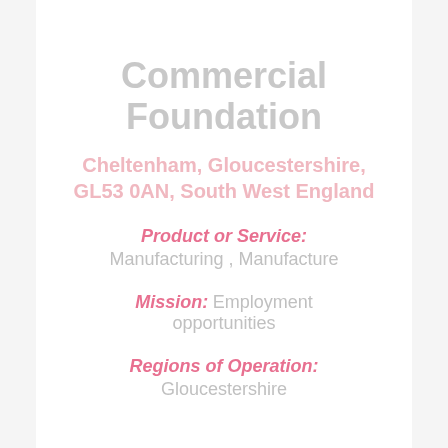Commercial Foundation
Cheltenham, Gloucestershire, GL53 0AN, South West England
Product or Service: Manufacturing , Manufacture
Mission: Employment opportunities
Regions of Operation: Gloucestershire
» More Details